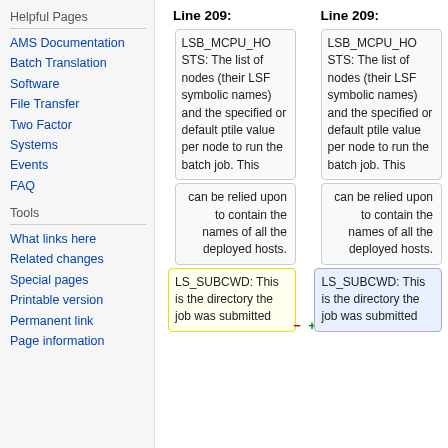Helpful Pages
AMS Documentation
Batch Translation
Software
File Transfer
Two Factor
Systems
Events
FAQ
Tools
What links here
Related changes
Special pages
Printable version
Permanent link
Page information
Line 209:
Line 209:
LSB_MCPU_HOSTS: The list of nodes (their LSF symbolic names) and the specified or default ptile value per node to run the batch job. This
LSB_MCPU_HOSTS: The list of nodes (their LSF symbolic names) and the specified or default ptile value per node to run the batch job. This
can be relied upon to contain the names of all the deployed hosts.
can be relied upon to contain the names of all the deployed hosts.
LS_SUBCWD: This is the directory the job was submitted
LS_SUBCWD: This is the directory the job was submitted